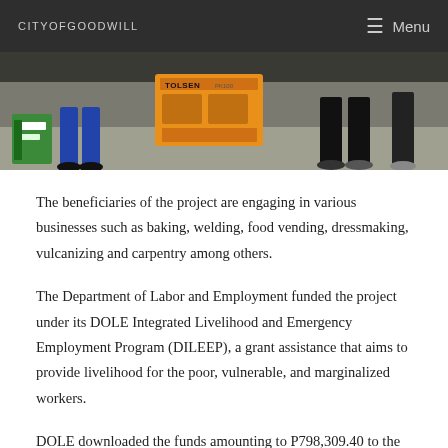CITYOFGOODWILL    Menu
[Figure (photo): Photograph showing people with a Tolsen brand equipment box (orange) and other items on a floor, with legs of standing people visible in background.]
The beneficiaries of the project are engaging in various businesses such as baking, welding, food vending, dressmaking, vulcanizing and carpentry among others.
The Department of Labor and Employment funded the project under its DOLE Integrated Livelihood and Emergency Employment Program (DILEEP), a grant assistance that aims to provide livelihood for the poor, vulnerable, and marginalized workers.
DOLE downloaded the funds amounting to P798,309.40 to the barangay council of San Pablo that also serves as the